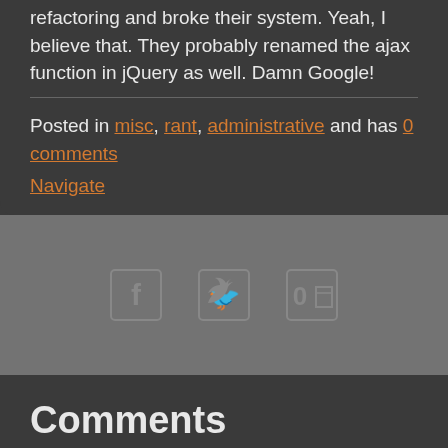refactoring and broke their system. Yeah, I believe that. They probably renamed the ajax function in jQuery as well. Damn Google!
Posted in misc, rant, administrative and has 0 comments
Navigate
[Figure (infographic): Social sharing icons: Facebook, Twitter, and a third icon (Outlook/other)]
Comments